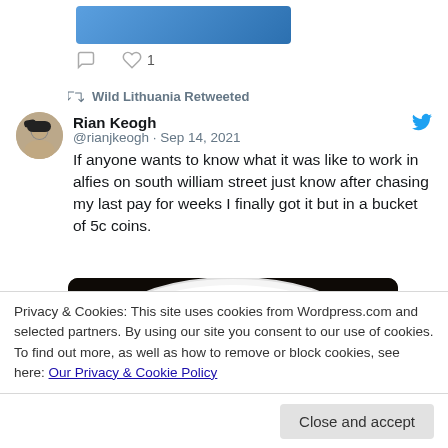[Figure (screenshot): Partial tweet card showing top image strip (blue) and action icons (comment, heart with count 1)]
Wild Lithuania Retweeted
Rian Keogh @rianjkeogh · Sep 14, 2021
If anyone wants to know what it was like to work in alfies on south william street just know after chasing my last pay for weeks I finally got it but in a bucket of 5c coins.
[Figure (photo): Photo of a white bucket/bowl filled with many small copper/bronze 5c coins against a dark background]
Privacy & Cookies: This site uses cookies from Wordpress.com and selected partners. By using our site you consent to our use of cookies. To find out more, as well as how to remove or block cookies, see here: Our Privacy & Cookie Policy
Close and accept